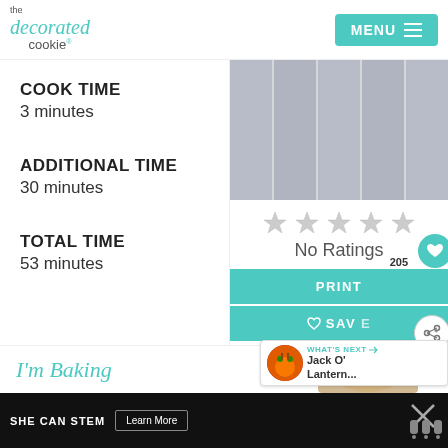the decorated cookie | MENU
[Figure (photo): Image of cookie pops or food items in strips, displayed as a grey placeholder with vertical dividers]
[Figure (other): Five grey star rating icons indicating no ratings]
COOK TIME
3 minutes
ADDITIONAL TIME
30 minutes
TOTAL TIME
53 minutes
No Ratings
205
PRINT
SAV...
WHAT'S NEXT → Jack O' Lantern...
I'm Baking
SHE CAN STEM Learn More